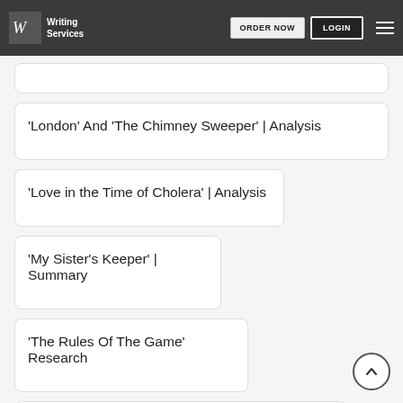Writing Services — ORDER NOW | LOGIN
'London' And 'The Chimney Sweeper' | Analysis
'Love in the Time of Cholera' | Analysis
'My Sister's Keeper' | Summary
'The Rules Of The Game' Research
'Theme For English B' By Langston Hughes
1984 By George Orwell English Literature Essay